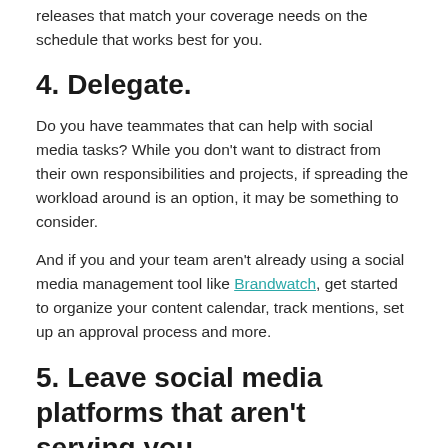releases that match your coverage needs on the schedule that works best for you.
4. Delegate.
Do you have teammates that can help with social media tasks? While you don't want to distract from their own responsibilities and projects, if spreading the workload around is an option, it may be something to consider.
And if you and your team aren't already using a social media management tool like Brandwatch, get started to organize your content calendar, track mentions, set up an approval process and more.
5. Leave social media platforms that aren't serving you.
Even though I subscribe to the JOMO (joy of missing out) mentality, I understand that many people have FOMO (fear of missing out)